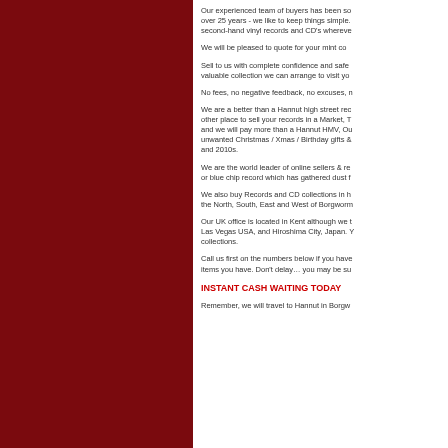Our experienced team of buyers has been sourcing records for over 25 years - we like to keep things simple. We buy second-hand vinyl records and CD's wherever...
We will be pleased to quote for your mint con...
Sell to us with complete confidence and safety... valuable collection we can arrange to visit you...
No fees, no negative feedback, no excuses, n...
We are a better than a Hannut high street rec... other place to sell your records in a Market, T... and we will pay more than a Hannut HMV, Ou... unwanted Christmas / Xmas / Birthday gifts &... and 2010s.
We are the world leader of online sellers & re... or blue chip record which has gathered dust f...
We also buy Records and CD collections in h... the North, South, East and West of Borgworm...
Our UK office is located in Kent although we t... Las Vegas USA, and Hiroshima City, Japan. Y... collections.
Call us first on the numbers below if you have... items you have. Don't delay… you may be su...
INSTANT CASH WAITING TODAY
Remember, we will travel to Hannut in Borgw...